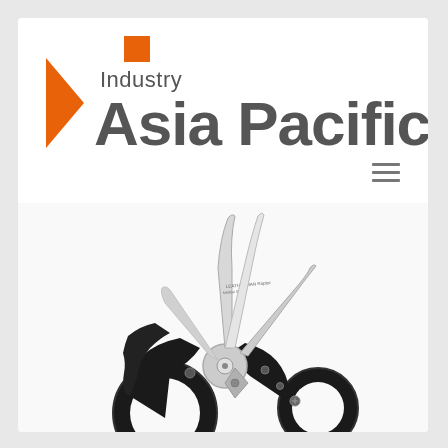[Figure (logo): Industry Asia Pacific logo with orange arrow chevron on left, orange square above 'Industry' text, and large grey 'Asia Pacific' text]
[Figure (photo): Leatherman multi-tool scissors/shears product photo on white background, featuring black handles with large finger loop, silver stainless steel blades and multiple tool attachments including a blade]